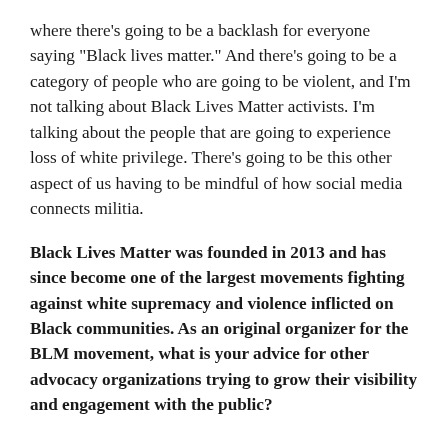where there's going to be a backlash for everyone saying "Black lives matter." And there's going to be a category of people who are going to be violent, and I'm not talking about Black Lives Matter activists. I'm talking about the people that are going to experience loss of white privilege. There's going to be this other aspect of us having to be mindful of how social media connects militia.
Black Lives Matter was founded in 2013 and has since become one of the largest movements fighting against white supremacy and violence inflicted on Black communities. As an original organizer for the BLM movement, what is your advice for other advocacy organizations trying to grow their visibility and engagement with the public?